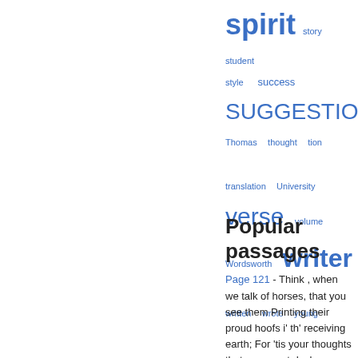spirit  story  student  style  success  SUGGESTIONS  Thomas  thought  tion  translation  University  verse  volume  Wordsworth  writer  written  wrote  young
Popular passages
Page 121 - Think , when we talk of horses, that you see them Printing their proud hoofs i' th' receiving earth; For 'tis your thoughts that now must deck our kings